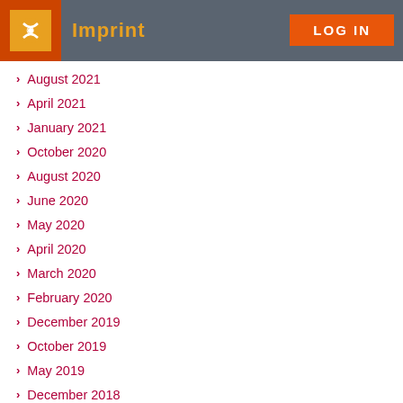Imprint  LOG IN
August 2021
April 2021
January 2021
October 2020
August 2020
June 2020
May 2020
April 2020
March 2020
February 2020
December 2019
October 2019
May 2019
December 2018
July 2018
December 2017
November 2017
October 2017